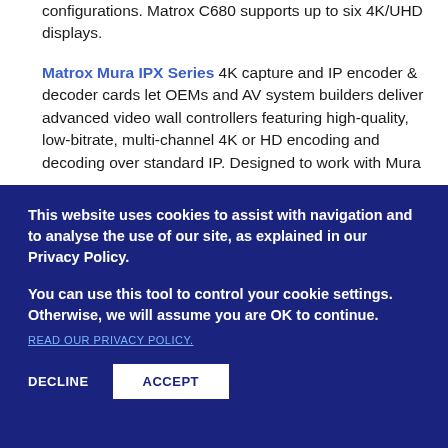configurations. Matrox C680 supports up to six 4K/UHD displays.
Matrox Mura IPX Series 4K capture and IP encoder & decoder cards let OEMs and AV system builders deliver advanced video wall controllers featuring high-quality, low-bitrate, multi-channel 4K or HD encoding and decoding over standard IP. Designed to work with Mura...
This website uses cookies to assist with navigation and to analyse the use of our site, as explained in our Privacy Policy.
You can use this tool to control your cookie settings. Otherwise, we will assume you are OK to continue.
READ OUR PRIVACY POLICY.
DECLINE
ACCEPT